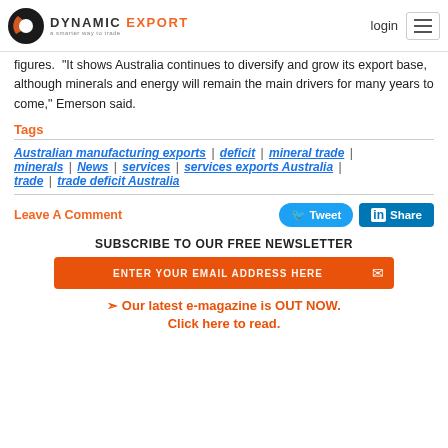DYNAMIC EXPORT — a smarter way to trade | login
figures. "It shows Australia continues to diversify and grow its export base, although minerals and energy will remain the main drivers for many years to come," Emerson said.
Tags
Australian manufacturing exports | deficit | mineral trade | minerals | News | services | services exports Australia | trade | trade deficit Australia
Leave A Comment
Tweet | Share
SUBSCRIBE TO OUR FREE NEWSLETTER
ENTER YOUR EMAIL ADDRESS HERE
➤ Our latest e-magazine is OUT NOW. Click here to read.